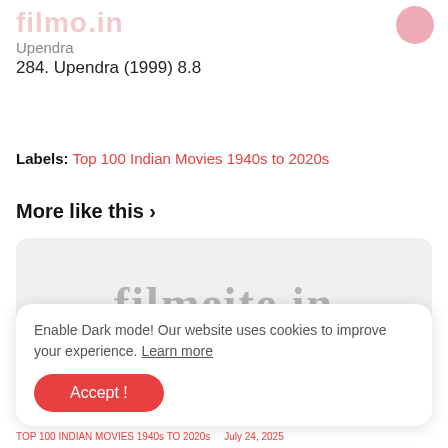filmo.in (watermark, top)
Upendra
284. Upendra (1999) 8.8
Labels: Top 100 Indian Movies 1940s to 2020s
More like this >
[Figure (screenshot): Gray placeholder card with filmsite.in watermark text partially visible]
Enable Dark mode! Our website uses cookies to improve your experience. Learn more
Accept !
TOP 100 INDIAN MOVIES 1940s TO 2020s ... July 24, 2025